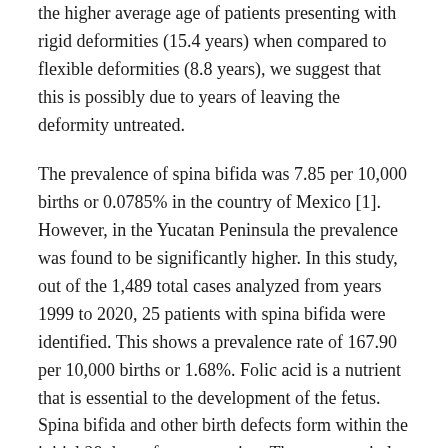the higher average age of patients presenting with rigid deformities (15.4 years) when compared to flexible deformities (8.8 years), we suggest that this is possibly due to years of leaving the deformity untreated.
The prevalence of spina bifida was 7.85 per 10,000 births or 0.0785% in the country of Mexico [1]. However, in the Yucatan Peninsula the prevalence was found to be significantly higher. In this study, out of the 1,489 total cases analyzed from years 1999 to 2020, 25 patients with spina bifida were identified. This shows a prevalence rate of 167.90 per 10,000 births or 1.68%. Folic acid is a nutrient that is essential to the development of the fetus. Spina bifida and other birth defects form within the initial 28 days after conception. These congenital deformities can be prevented by ensuring